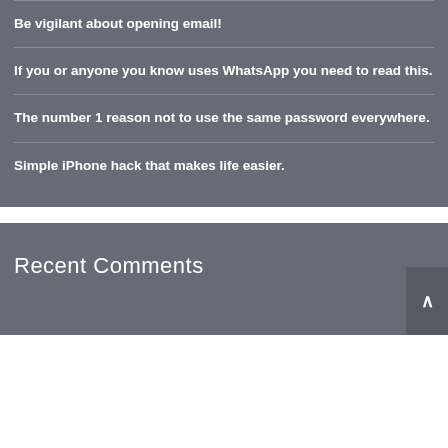Be vigilant about opening email!
If you or anyone you know uses WhatsApp you need to read this.
The number 1 reason not to use the same password everywhere.
Simple iPhone hack that makes life easier.
Recent Comments